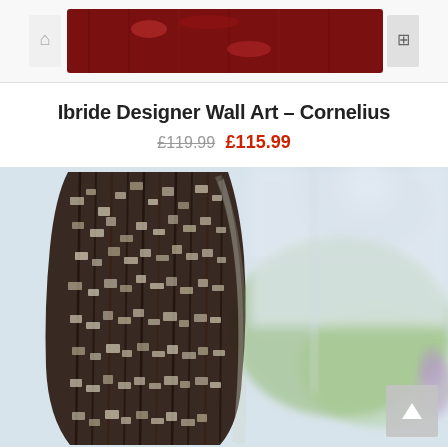[Figure (photo): Partial view of a product carousel or image strip showing a dark red/brown decorative wall art piece on a white background with navigation icons]
Ibride Designer Wall Art – Cornelius
£119.99 £115.99
[Figure (photo): Close-up photo of the Ibride Cornelius designer wall art piece — a cylindrical or curved sculptural object with a rough, mosaic-like dark brown and cream textured surface, shown against a blurred background of a sunlit window and green garden foliage, with a purple flower visible at the right edge. A back-to-top navigation button appears in the lower right corner.]